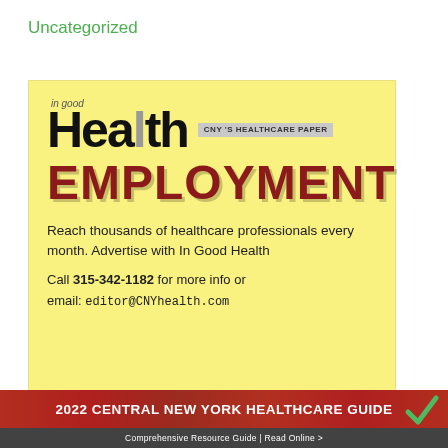Uncategorized
[Figure (illustration): In Good Health CNY's Healthcare Paper - Employment advertising box with yellow background. Features the 'In Good Health' logo with large dark text and 'EMPLOYMENT' in large bold dark red letters. Text reads: 'Reach thousands of healthcare professionals every month. Advertise with In Good Health. Call 315-342-1182 for more info or email: editor@CNYhealth.com']
[Figure (illustration): 2022 Central New York Healthcare Guide banner at bottom of page. Red background with white bold text '2022 CENTRAL NEW YORK HEALTHCARE GUIDE'. Below it says 'Comprehensive Resource Guide | Read Online >' on dark background. Colorful fruit images visible behind the banner. Green checkmark logo visible at top right.]